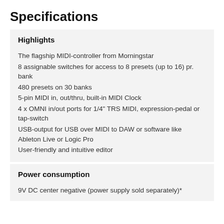Specifications
Highlights
The flagship MIDI-controller from Morningstar
8 assignable switches for access to 8 presets (up to 16) pr. bank
480 presets on 30 banks
5-pin MIDI in, out/thru, built-in MIDI Clock
4 x OMNI in/out ports for 1/4" TRS MIDI, expression-pedal or tap-switch
USB-output for USB over MIDI to DAW or software like Ableton Live or Logic Pro
User-friendly and intuitive editor
Power consumption
9V DC center negative (power supply sold separately)*